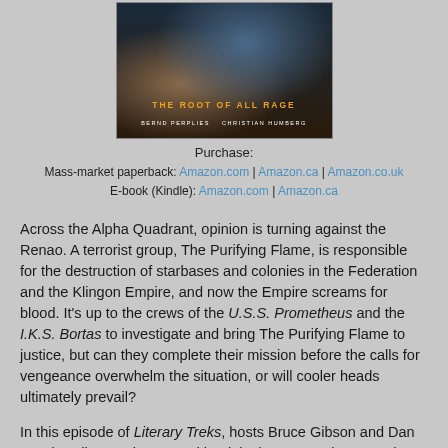[Figure (illustration): Book cover for 'The Root of All Rage' by Bernd Perplies and Christian Humberg. Dark sci-fi cover with orange title text and white author names.]
Purchase:
Mass-market paperback: Amazon.com | Amazon.ca | Amazon.co.uk
E-book (Kindle): Amazon.com | Amazon.ca
Across the Alpha Quadrant, opinion is turning against the Renao. A terrorist group, The Purifying Flame, is responsible for the destruction of starbases and colonies in the Federation and the Klingon Empire, and now the Empire screams for blood. It’s up to the crews of the U.S.S. Prometheus and the I.K.S. Bortas to investigate and bring The Purifying Flame to justice, but can they complete their mission before the calls for vengeance overwhelm the situation, or will cooler heads ultimately prevail?
In this episode of Literary Treks, hosts Bruce Gibson and Dan Gunther discuss the second book in the Star Trek: Prometheus trilogy, The Root of All Rage. We talk about the delicate relationship between the Federation and the Klingon...